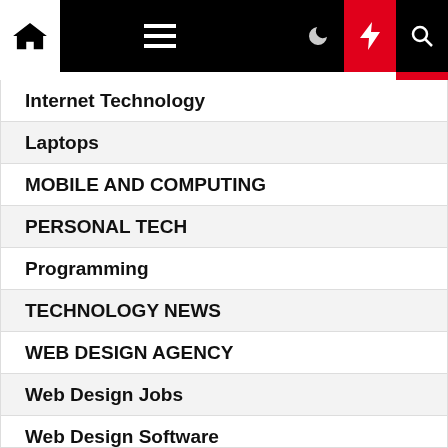Navigation menu with home, hamburger, moon, bolt, and search icons
Internet Technology
Laptops
MOBILE AND COMPUTING
PERSONAL TECH
Programming
TECHNOLOGY NEWS
WEB DESIGN AGENCY
Web Design Jobs
Web Design Software